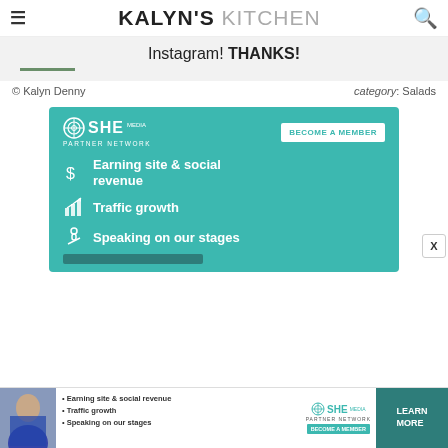KALYN'S KITCHEN
Instagram! THANKS!
© Kalyn Denny
category: Salads
[Figure (infographic): SHE Media Partner Network advertisement with teal background. Shows logo, 'BECOME A MEMBER' button, and three bullet points with icons: 'Earning site & social revenue', 'Traffic growth', 'Speaking on our stages'.]
[Figure (infographic): Bottom banner SHE Media ad with photo of woman, bullet points listing benefits, SHE Media Partner Network logo, and 'LEARN MORE' button.]